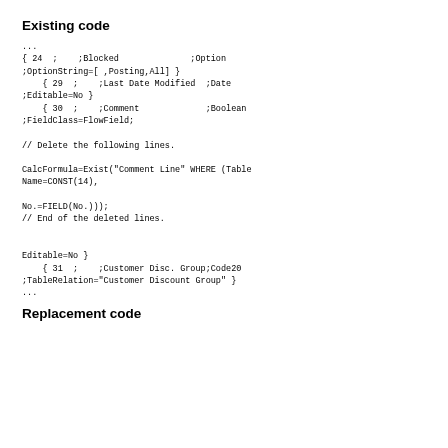Existing code
...
{ 24  ;    ;Blocked              ;Option ;OptionString=[ ,Posting,All] }
    { 29  ;    ;Last Date Modified  ;Date ;Editable=No }
    { 30  ;    ;Comment             ;Boolean ;FieldClass=FlowField;

// Delete the following lines.

CalcFormula=Exist("Comment Line" WHERE (Table Name=CONST(14),

No.=FIELD(No.)));
// End of the deleted lines.


Editable=No }
    { 31  ;    ;Customer Disc. Group;Code20 ;TableRelation="Customer Discount Group" }
...
Replacement code